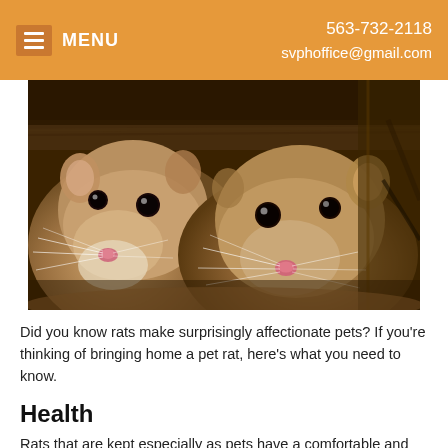MENU | 563-732-2118 svphoffice@gmail.com
[Figure (photo): Two brown rats peeking out from under a wooden surface, close-up photograph showing their faces, whiskers, and dark eyes.]
Did you know rats make surprisingly affectionate pets? If you're thinking of bringing home a pet rat, here's what you need to know.
Health
Rats that are kept especially as pets have a comfortable and